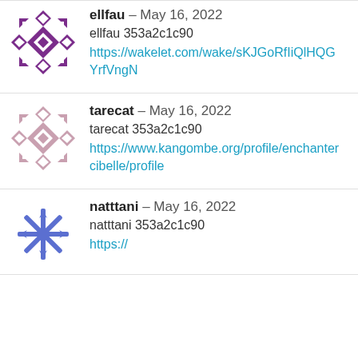[Figure (illustration): Purple geometric quilt-pattern avatar for user ellfau]
ellfau – May 16, 2022
ellfau 353a2c1c90
https://wakelet.com/wake/sKJGoRfIiQlHQGYrfVngN
[Figure (illustration): Pink/mauve geometric quilt-pattern avatar for user tarecat]
tarecat – May 16, 2022
tarecat 353a2c1c90
https://www.kangombe.org/profile/enchantercibelle/profile
[Figure (illustration): Blue/violet snowflake-pattern avatar for user natttani]
natttani – May 16, 2022
natttani 353a2c1c90